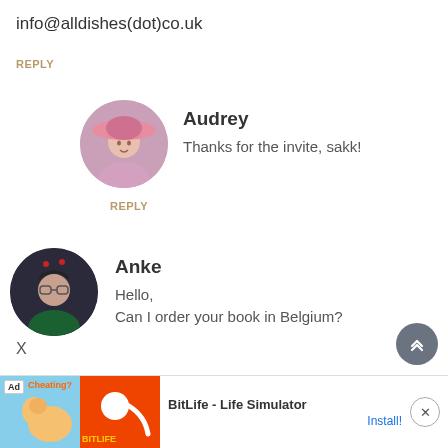info@alldishes(dot)co.uk
REPLY
[Figure (photo): Circular avatar photo of Audrey, a person wearing a pink hat outdoors]
Audrey
Thanks for the invite, sakk!
REPLY
[Figure (photo): Circular avatar photo of Anke, a person in a dark setting wearing glasses]
Anke
Hello,
Can I order your book in Belgium?
X
REPLY
[Figure (other): Gray circular back-to-top button with upward chevron arrows]
Ad  Cheating? BitLife - Life Simulator Install!